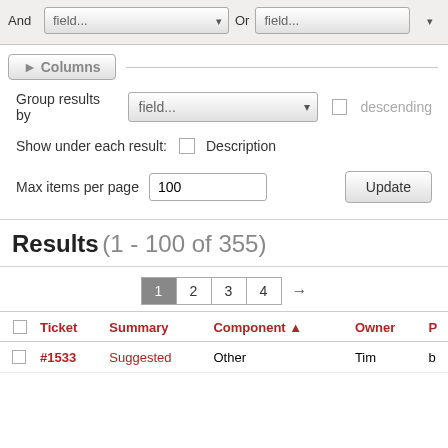[Figure (screenshot): Filter UI with And/Or field dropdowns]
▶ Columns
Group results by   field...   descending
Show under each result:   Description
Max items per page   100
Results (1 - 100 of 355)
1  2  3  4  →
|  | Ticket | Summary | Component ▲ | Owner | P |
| --- | --- | --- | --- | --- | --- |
|  | #1533 | Suggested | Other | Tim | b |